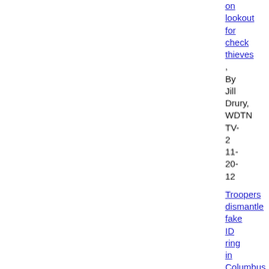on lookout for check thieves, By Jill Drury, WDTN TV-2 11-20-12
Troopers dismantle fake ID ring in Columbus, Pike County Daily, 11-